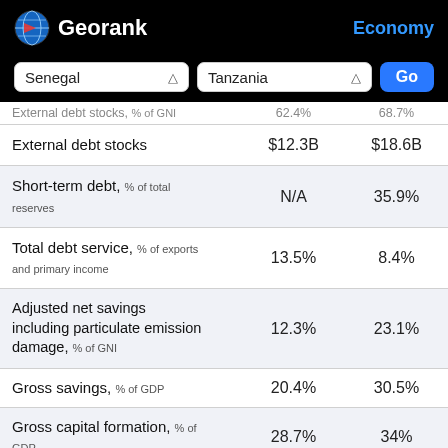Georank — Economy
Senegal | Tanzania | Go
| Indicator | Senegal | Tanzania |
| --- | --- | --- |
| External debt stocks, % of GNI | 62.4% | 68.7% |
| External debt stocks | $12.3B | $18.6B |
| Short-term debt, % of total reserves | N/A | 35.9% |
| Total debt service, % of exports and primary income | 13.5% | 8.4% |
| Adjusted net savings including particulate emission damage, % of GNI | 12.3% | 23.1% |
| Gross savings, % of GDP | 20.4% | 30.5% |
| Gross capital formation, % of GDP | 28.7% | 34% |
| Total reserves including gold | N/A | $5B |